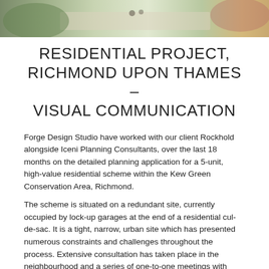[Figure (photo): Aerial or overhead view of a residential outdoor area with paving, greenery and people, shown as a banner image at the top of the page.]
RESIDENTIAL PROJECT, RICHMOND UPON THAMES – VISUAL COMMUNICATION
Forge Design Studio have worked with our client Rockhold alongside Iceni Planning Consultants, over the last 18 months on the detailed planning application for a 5-unit, high-value residential scheme within the Kew Green Conservation Area, Richmond.
The scheme is situated on a redundant site, currently occupied by lock-up garages at the end of a residential cul-de-sac. It is a tight, narrow, urban site which has presented numerous constraints and challenges throughout the process. Extensive consultation has taken place in the neighbourhood and a series of one-to-one meetings with adjacent owners was particularly informative.